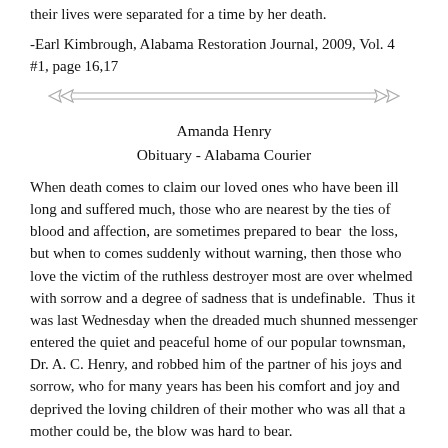their lives were separated for a time by her death.
-Earl Kimbrough, Alabama Restoration Journal, 2009, Vol. 4 #1, page 16,17
[Figure (illustration): Decorative horizontal divider with arrow-like ornamental lines]
Amanda Henry
Obituary - Alabama Courier
When death comes to claim our loved ones who have been ill long and suffered much, those who are nearest by the ties of blood and affection, are sometimes prepared to bear  the loss, but when to comes suddenly without warning, then those who love the victim of the ruthless destroyer most are over whelmed with sorrow and a degree of sadness that is undefinable.  Thus it was last Wednesday when the dreaded much shunned messenger entered the quiet and peaceful home of our popular townsman, Dr. A. C. Henry, and robbed him of the partner of his joys and sorrow, who for many years has been his comfort and joy and deprived the loving children of their mother who was all that a mother could be, the blow was hard to bear.
Mrs. Henry had been ill for sometime with slow fever, but no